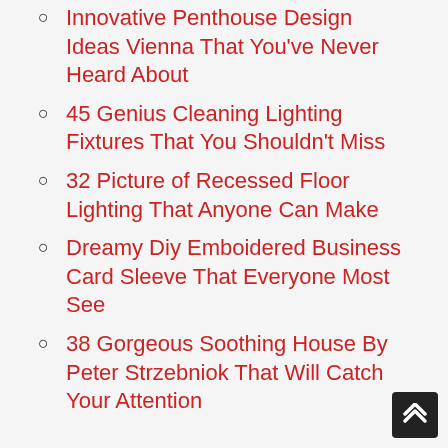Innovative Penthouse Design Ideas Vienna That You've Never Heard About
45 Genius Cleaning Lighting Fixtures That You Shouldn't Miss
32 Picture of Recessed Floor Lighting That Anyone Can Make
Dreamy Diy Emboidered Business Card Sleeve That Everyone Most See
38 Gorgeous Soothing House By Peter Strzebniok That Will Catch Your Attention
DIY HAMMOCKS SWING CHAIRS
This images diy hammocks swing chairs present you some ideas. Prepare to be overcome with some ideas that are great. We have already demonstrated you some pictu above, and now it is period to have more pictures to an